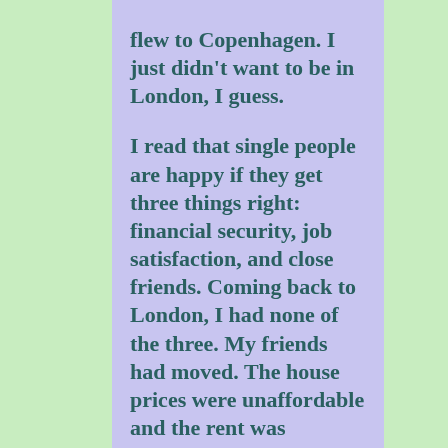flew to Copenhagen. I just didn't want to be in London, I guess.

I read that single people are happy if they get three things right: financial security, job satisfaction, and close friends. Coming back to London, I had none of the three. My friends had moved. The house prices were unaffordable and the rent was astronomical. And job satisfaction?